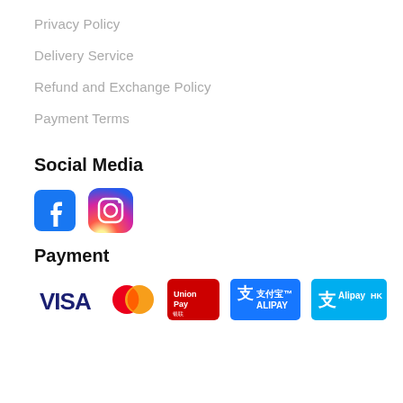Privacy Policy
Delivery Service
Refund and Exchange Policy
Payment Terms
Social Media
[Figure (logo): Facebook and Instagram social media icons]
Payment
[Figure (logo): Payment method logos: VISA, Mastercard, UnionPay, Alipay, Alipay HK]